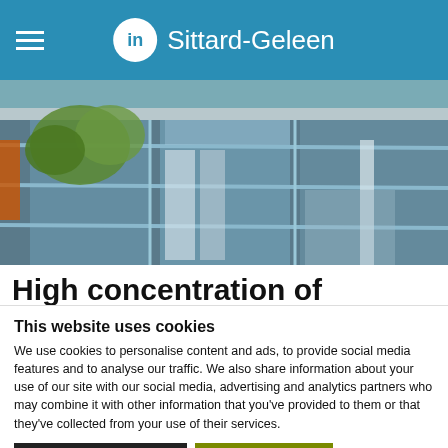in Sittard-Geleen
[Figure (photo): Exterior of a modern glass-facade building with trees in the foreground, partially obscured shot from ground level]
High concentration of industrial &
This website uses cookies
We use cookies to personalise content and ads, to provide social media features and to analyse our traffic. We also share information about your use of our site with our social media, advertising and analytics partners who may combine it with other information that you've provided to them or that they've collected from your use of their services.
Only necessary cookies | Allow all cookies | Show details